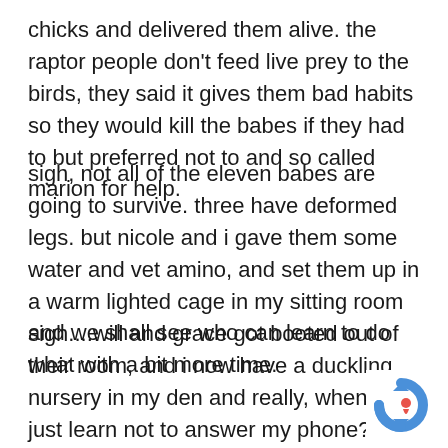chicks and delivered them alive. the raptor people don't feed live prey to the birds, they said it gives them bad habits so they would kill the babes if they had to but preferred not to and so called marion for help.
sigh, not all of the eleven babes are going to survive. three have deformed legs. but nicole and i gave them some water and vet amino, and set them up in a warm lighted cage in my sitting room and we shall see who can learn to do what with a bit more time.
sigh....will and grace got booted out of their room, and i now have a duckling nursery in my den and really, when will i just learn not to answer my phone? cuz every time i do, it is just another sad, sad story.
[Figure (logo): reCAPTCHA logo in the bottom right corner]